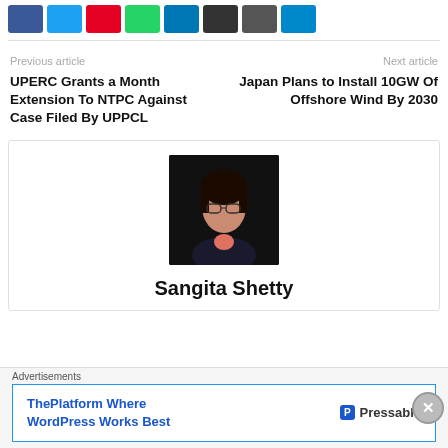[Figure (infographic): Row of social media sharing icons: Facebook (blue), Twitter (light blue), Pinterest (red), WhatsApp (green), LinkedIn (dark blue), Email (black/dark), Print (gray), Telegram (blue)]
Previous article
Next article
UPERC Grants a Month Extension To NTPC Against Case Filed By UPPCL
Japan Plans to Install 10GW Of Offshore Wind By 2030
[Figure (photo): Portrait photo of Sangita Shetty — a woman with glasses and dark hair, wearing a dark blazer, against a dark background]
Sangita Shetty
Advertisements
[Figure (infographic): Advertisement banner: 'ThePlatform Where WordPress Works Best' with Pressable logo on the right]